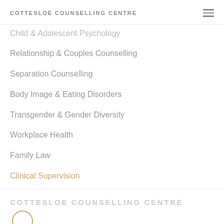COTTESLOE COUNSELLING CENTRE
Child & Adolescent Psychology
Relationship & Couples Counselling
Separation Counselling
Body Image & Eating Disorders
Transgender & Gender Diversity
Workplace Health
Family Law
Clinical Supervision
COTTESLOE COUNSELLING CENTRE